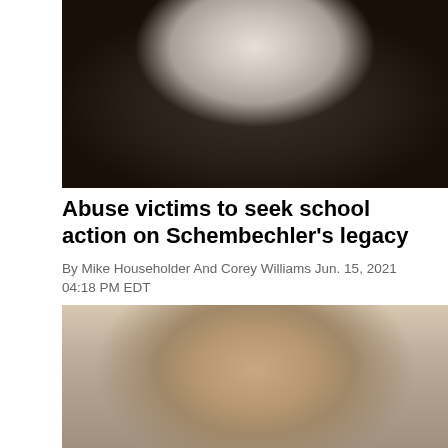[Figure (photo): Black and white portrait photograph of Bo Schembechler, an older man in a dark suit and tie, cropped from chest up]
Abuse victims to seek school action on Schembechler's legacy
By Mike Householder And Corey Williams Jun. 15, 2021 04:18 PM EDT
[Figure (photo): Color photograph of a middle-aged man with gray-brown hair and blue eyes looking upward slightly, against a light beige background]